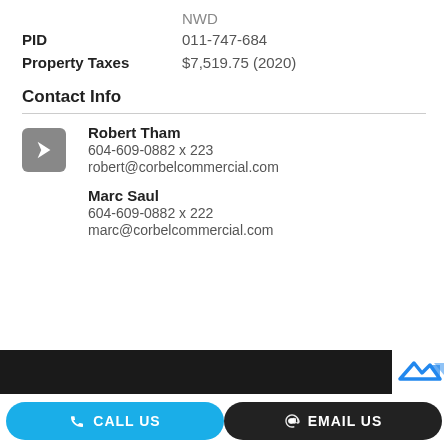NWD
PID  011-747-684
Property Taxes  $7,519.75 (2020)
Contact Info
Robert Tham
604-609-0882 x 223
robert@corbelcommercial.com
Marc Saul
604-609-0882 x 222
marc@corbelcommercial.com
[Figure (logo): Company logo in white box at bottom right of dark footer bar]
CALL US
EMAIL US